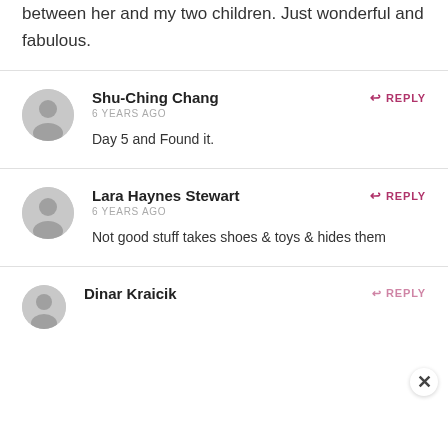between her and my two children. Just wonderful and fabulous.
Shu-Ching Chang
6 YEARS AGO
Day 5 and Found it.
Lara Haynes Stewart
6 YEARS AGO
Not good stuff takes shoes & toys & hides them
Dinar Kraicik
REPLY